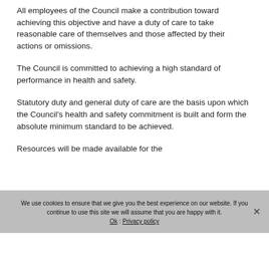All employees of the Council make a contribution toward achieving this objective and have a duty of care to take reasonable care of themselves and those affected by their actions or omissions.
The Council is committed to achieving a high standard of performance in health and safety.
Statutory duty and general duty of care are the basis upon which the Council's health and safety commitment is built and form the absolute minimum standard to be achieved.
Resources will be made available for the